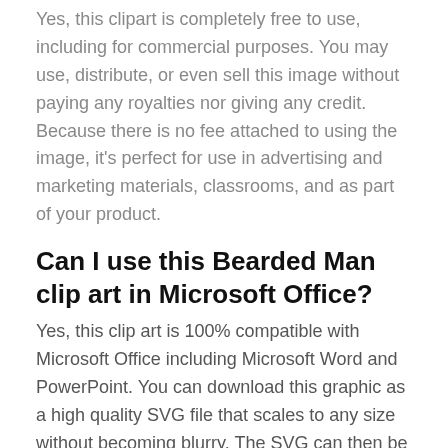Yes, this clipart is completely free to use, including for commercial purposes. You may use, distribute, or even sell this image without paying any royalties nor giving any credit. Because there is no fee attached to using the image, it's perfect for use in advertising and marketing materials, classrooms, and as part of your product.
Can I use this Bearded Man clip art in Microsoft Office?
Yes, this clip art is 100% compatible with Microsoft Office including Microsoft Word and PowerPoint. You can download this graphic as a high quality SVG file that scales to any size without becoming blurry. The SVG can then be imported into your office software whether that be Microsoft Office, Apple Pages, or LibreOffice.
Can I print the Bearded Man clip art?